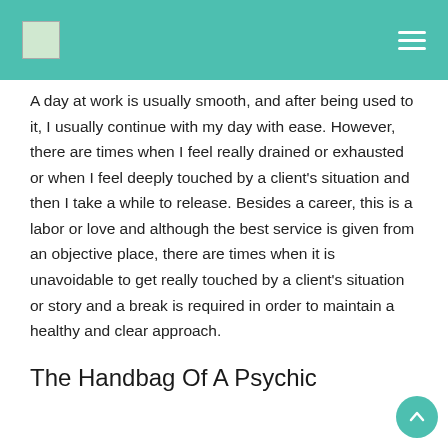[logo] [hamburger menu]
A day at work is usually smooth, and after being used to it, I usually continue with my day with ease. However, there are times when I feel really drained or exhausted or when I feel deeply touched by a client's situation and then I take a while to release. Besides a career, this is a labor or love and although the best service is given from an objective place, there are times when it is unavoidable to get really touched by a client's situation or story and a break is required in order to maintain a healthy and clear approach.
The Handbag Of A Psychic